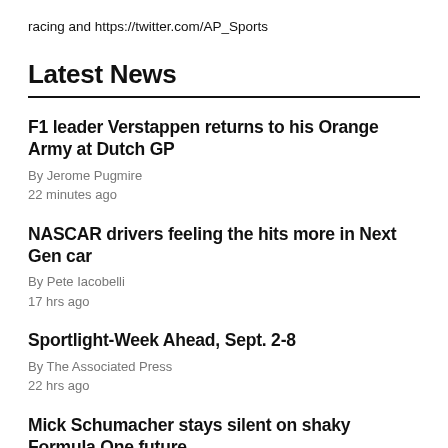racing and https://twitter.com/AP_Sports
Latest News
F1 leader Verstappen returns to his Orange Army at Dutch GP
By Jerome Pugmire
22 minutes ago
NASCAR drivers feeling the hits more in Next Gen car
By Pete Iacobelli
17 hrs ago
Sportlight-Week Ahead, Sept. 2-8
By The Associated Press
22 hrs ago
Mick Schumacher stays silent on shaky Formula One future